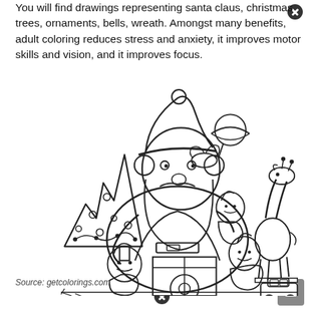You will find drawings representing santa claus, christmas trees, ornaments, bells, wreath. Amongst many benefits, adult coloring reduces stress and anxiety, it improves motor skills and vision, and it improves focus.
[Figure (illustration): Black and white coloring page illustration showing Santa Claus surrounded by elves and toys including a Christmas tree, giraffe toy, toy car, and a globe/planet toy. Santa is seated and holding an elf figure while other elves are around him.]
Source: getcolorings.com